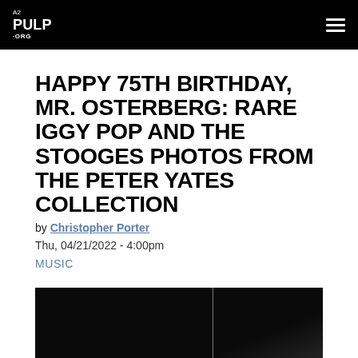A2 PULP ORG
HAPPY 75TH BIRTHDAY, MR. OSTERBERG: RARE IGGY POP AND THE STOOGES PHOTOS FROM THE PETER YATES COLLECTION
by Christopher Porter
Thu, 04/21/2022 - 4:00pm
MUSIC
[Figure (photo): Black and white photograph, mostly dark background with a thin vertical line (microphone stand or similar) visible in the upper right portion of the image. Bottom right corner shows a slight lighter area.]